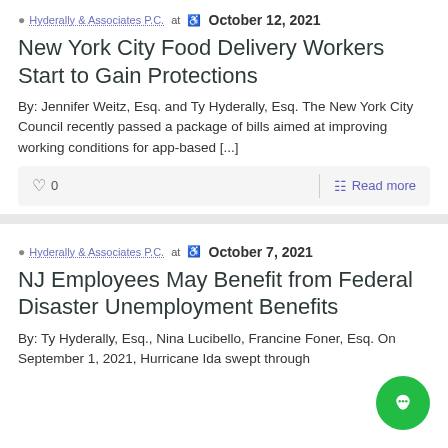Hyderally & Associates P.C. at October 12, 2021
New York City Food Delivery Workers Start to Gain Protections
By: Jennifer Weitz, Esq. and Ty Hyderally, Esq. The New York City Council recently passed a package of bills aimed at improving working conditions for app-based [...]
0  Read more
Hyderally & Associates P.C. at October 7, 2021
NJ Employees May Benefit from Federal Disaster Unemployment Benefits
By: Ty Hyderally, Esq., Nina Lucibello, Francine Foner, Esq. On September 1, 2021, Hurricane Ida swept through